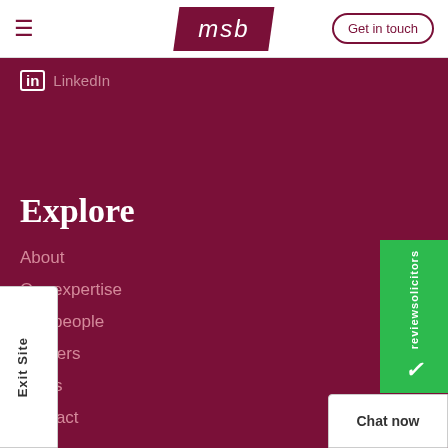msb | Get in touch
in LinkedIn
Explore
About
Our expertise
Our people
Careers
News
Contact
Exit Site
reviewsolicitors
Chat now